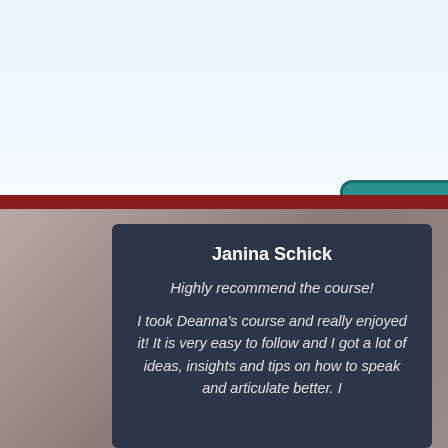ENROLL TODAY
Janina Schick
Highly recommend the course!
I took Deanna's course and really enjoyed it! It is very easy to follow and I got a lot of ideas, insights and tips on how to speak and articulate better. I